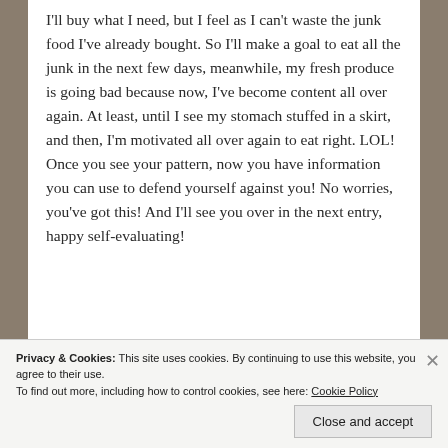I'll buy what I need, but I feel as I can't waste the junk food I've already bought. So I'll make a goal to eat all the junk in the next few days, meanwhile, my fresh produce is going bad because now, I've become content all over again. At least, until I see my stomach stuffed in a skirt, and then, I'm motivated all over again to eat right. LOL! Once you see your pattern, now you have information you can use to defend yourself against you! No worries, you've got this! And I'll see you over in the next entry, happy self-evaluating!
Privacy & Cookies: This site uses cookies. By continuing to use this website, you agree to their use.
To find out more, including how to control cookies, see here: Cookie Policy